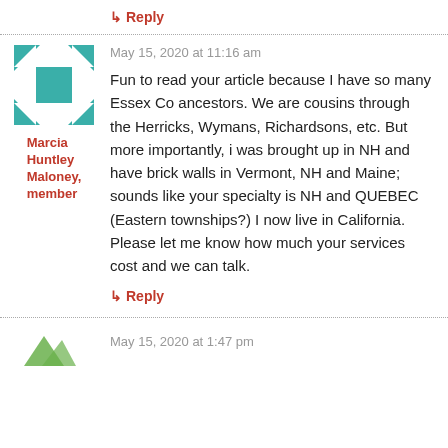↳ Reply
May 15, 2020 at 11:16 am
[Figure (illustration): Teal geometric avatar with H-shape pattern made of triangles and squares]
Marcia Huntley Maloney, member
Fun to read your article because I have so many Essex Co ancestors. We are cousins through the Herricks, Wymans, Richardsons, etc. But more importantly, i was brought up in NH and have brick walls in Vermont, NH and Maine; sounds like your specialty is NH and QUEBEC (Eastern townships?) I now live in California. Please let me know how much your services cost and we can talk.
↳ Reply
May 15, 2020 at 1:47 pm